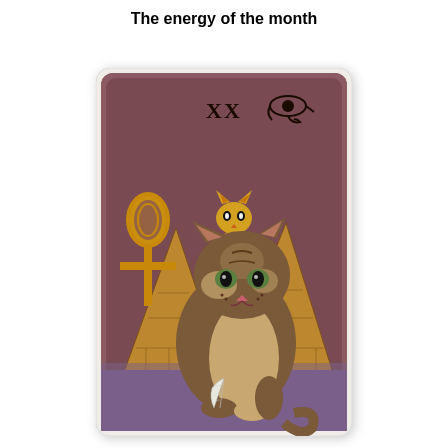The energy of the month
[Figure (illustration): A tarot card labeled XX (card number 20) showing an Egyptian-themed scene. A realistic brown tabby cat sits in the foreground on a purple floor, holding a white feather beneath its paw. Behind it stands a golden cat deity (Bastet-like figure) with a decorative collar. To the left is a large golden ankh symbol. Egyptian pyramids appear in the background. The background is dark reddish-brown/mauve. In the upper right corner is the Eye of Horus symbol. The card has a white border with rounded corners.]